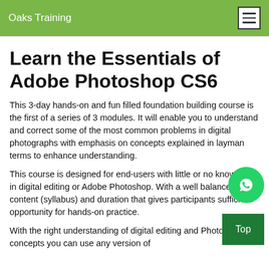Oaks Training
Learn the Essentials of Adobe Photoshop CS6
This 3-day hands-on and fun filled foundation building course is the first of a series of 3 modules. It will enable you to understand and correct some of the most common problems in digital photographs with emphasis on concepts explained in layman terms to enhance understanding.
This course is designed for end-users with little or no knowledge in digital editing or Adobe Photoshop. With a well balance of content (syllabus) and duration that gives participants sufficient opportunity for hands-on practice.
With the right understanding of digital editing and Photoshop concepts you can use any version of